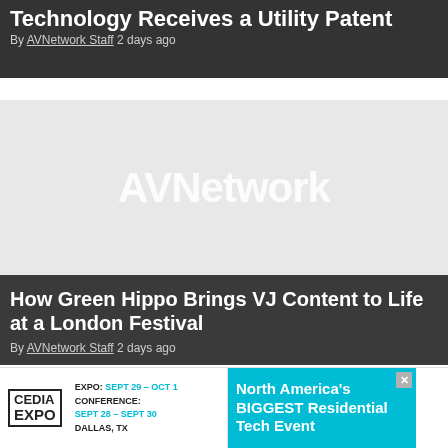Technology Receives a Utility Patent
By AVNetwork Staff 2 days ago
[Figure (logo): AVNetwork placeholder image with watermark logo text on light gray background]
How Green Hippo Brings VJ Content to Life at a London Festival
By AVNetwork Staff 2 days ago
[Figure (photo): Partially visible third article card with light gray background]
[Figure (infographic): CEDIA EXPO advertisement banner. EXPO: SEPT 29 - OCT 1, CONFERENCE: SEPT 28 - SEPT 30, DALLAS, TX. North America's BIGGEST Residential Tech Event.]